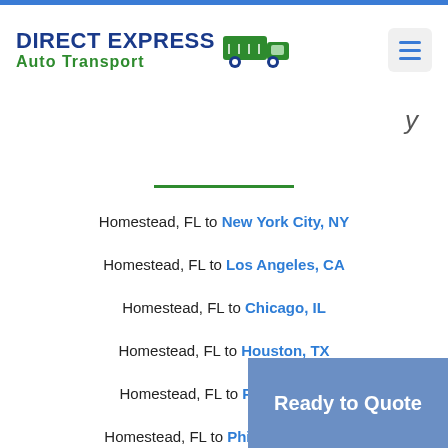DIRECT EXPRESS Auto Transport
Homestead, FL to New York City, NY
Homestead, FL to Los Angeles, CA
Homestead, FL to Chicago, IL
Homestead, FL to Houston, TX
Homestead, FL to Phoenix, AZ
Homestead, FL to Philadelphia, PA
Homestead, FL to San Antonio
Homestead, FL to San Diego, CA
Ready to Quote